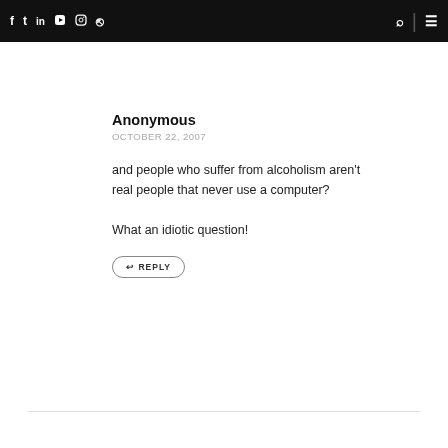f  t  in  yt  inst  rss  [search] | [menu]
Anonymous
OCTOBER 22, 2007
and people who suffer from alcoholism aren't real people that never use a computer?

What an idiotic question!
↩ REPLY